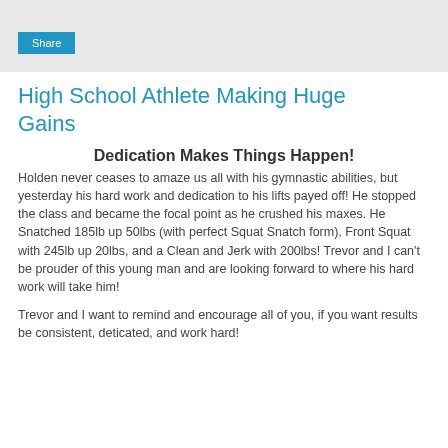Share
High School Athlete Making Huge Gains
Dedication Makes Things Happen!
Holden never ceases to amaze us all with his gymnastic abilities, but yesterday his hard work and dedication to his lifts payed off! He stopped the class and became the focal point as he crushed his maxes. He Snatched 185lb up 50lbs (with perfect Squat Snatch form), Front Squat with 245lb up 20lbs, and a Clean and Jerk with 200lbs! Trevor and I can't be prouder of this young man and are looking forward to where his hard work will take him!
Trevor and I want to remind and encourage all of you, if you want results be consistent, deticated, and work hard!